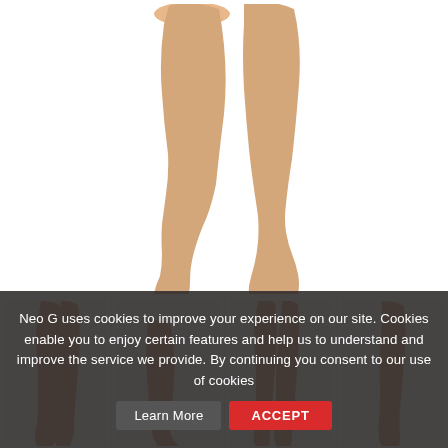[Figure (photo): Main product image: close-up of legs wearing sheer nude compression hosiery/tights, shown walking against white background]
[Figure (photo): Thumbnail 1: front view of legs in sheer nude tights]
[Figure (photo): Thumbnail 2: side view of lower leg/foot in sheer nude hosiery]
[Figure (photo): Thumbnail 3: front view of full legs in sheer nude tights]
[Figure (photo): Thumbnail 4: side view of legs in sheer nude tights]
Neo G uses cookies to improve your experience on our site. Cookies enable you to enjoy certain features and help us to understand and improve the service we provide. By continuing you consent to our use of cookies
Learn More
ACCEPT